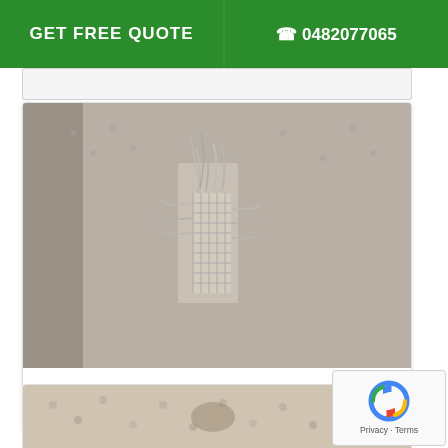GET FREE QUOTE   0482077065
[Figure (photo): Close-up photograph of severely worn and torn carpet showing frayed fibers and exposed backing/mesh underneath]
Carpet Wear and Tear
[Figure (photo): Close-up photograph of beige/cream colored carpet texture at the bottom of the page]